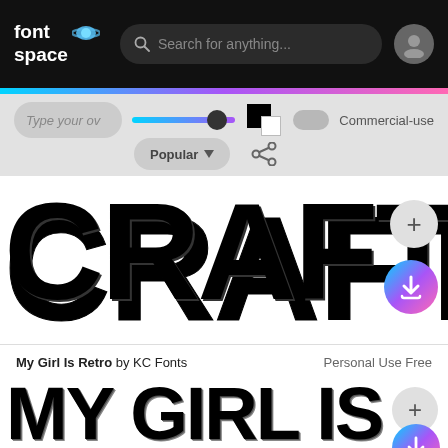fontspace — Search for anything...
[Figure (screenshot): FontSpace website UI controls: text input, font size slider with gradient, color swatches, Commercial-use toggle, Popular sort button, share icon]
[Figure (screenshot): Font preview: CRAFTY SI in large decorative dot-pattern bold black font with thick outlines]
My Girl Is Retro by KC Fonts   Personal Use Free
[Figure (screenshot): Font preview: MY GIRL IS in large distressed/grunge bold black retro font]